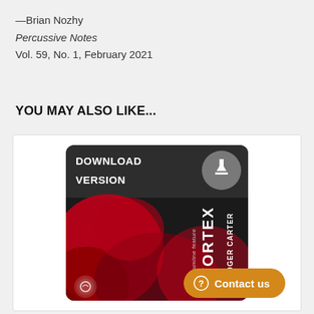—Brian Nozhy
Percussive Notes
Vol. 59, No. 1, February 2021
YOU MAY ALSO LIKE...
[Figure (illustration): Book cover for 'VORTEX' drumline feature by Roger Carter, shown as a download version with dark red abstract design and a download icon in the upper right corner. A publisher logo appears at the bottom left.]
Contact us